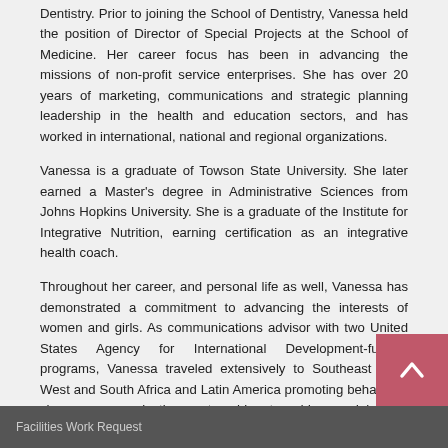Dentistry. Prior to joining the School of Dentistry, Vanessa held the position of Director of Special Projects at the School of Medicine. Her career focus has been in advancing the missions of non-profit service enterprises. She has over 20 years of marketing, communications and strategic planning leadership in the health and education sectors, and has worked in international, national and regional organizations.
Vanessa is a graduate of Towson State University. She later earned a Master's degree in Administrative Sciences from Johns Hopkins University. She is a graduate of the Institute for Integrative Nutrition, earning certification as an integrative health coach.
Throughout her career, and personal life as well, Vanessa has demonstrated a commitment to advancing the interests of women and girls. As communications advisor with two United States Agency for International Development-funded programs, Vanessa traveled extensively to Southeast Asia, West and South Africa and Latin America promoting behavioral change communication partnerships to address adolescent and family reproductive health. She also served as Executive Director of the Orange-Durham (North Carolina) Coalition on Domestic Violence. Vanessa is a member of Delta Sigma Theta Sorority, Inc., a national public service sorority.
Facilities Work Request